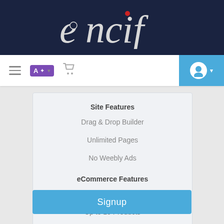[Figure (logo): encif logo in white serif font on dark navy background]
[Figure (screenshot): Navigation bar with hamburger menu, translate button, cart icon on white background, and blue profile button on the right]
Site Features
Drag & Drop Builder
Unlimited Pages
No Weebly Ads
eCommerce Features
3% Weebly Transaction Fees
Up to 10 Products
Checkout on Weebly.com
Signup